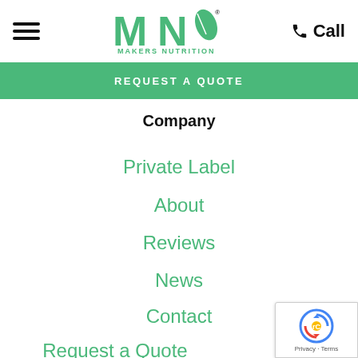[Figure (logo): Makers Nutrition logo — green MN letters with a leaf, text MAKERS NUTRITION below]
Call
REQUEST A QUOTE
Company
Private Label
About
Reviews
News
Contact
Request a Quote